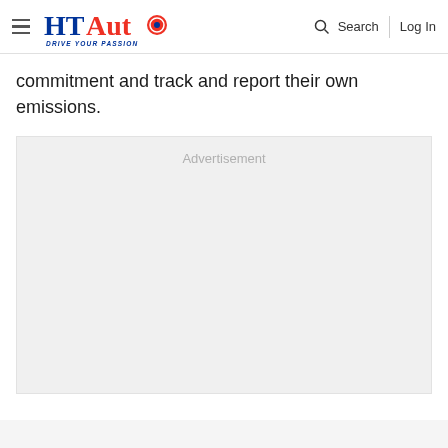HT Auto – Drive Your Passion | Search | Log In
commitment and track and report their own emissions.
[Figure (other): Advertisement placeholder block with light gray background]
Advertisement